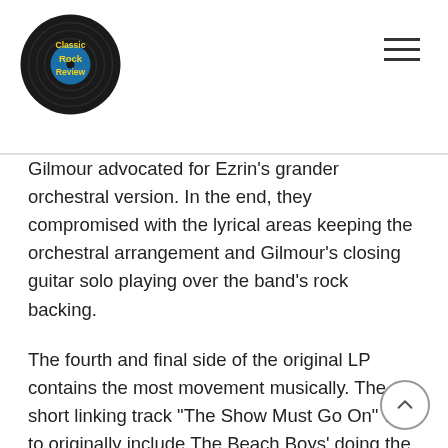Classic Rock Review
Gilmour advocated for Ezrin's grander orchestral version. In the end, they compromised with the lyrical areas keeping the orchestral arrangement and Gilmour's closing guitar solo playing over the band's rock backing.
The fourth and final side of the original LP contains the most movement musically. The short linking track “The Show Must Go On” was to originally include The Beach Boys’ doing the backing vocals, but ultimately Bruce Johnston was the only member of that band to be recorded, along with a vocal ensemble that included Toni Tennile of